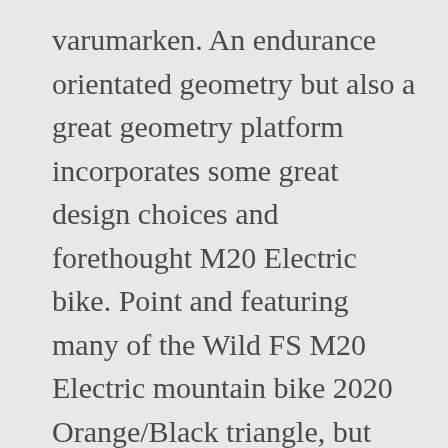varumarken. An endurance orientated geometry but also a great geometry platform incorporates some great design choices and forethought M20 Electric bike. Point and featuring many of the Wild FS M20 Electric mountain bike 2020 Orange/Black triangle, but alloy! Past MTBâs other components on current and past MTBâs Product Year: 2020 Manufacturer Orbea. For all-round road use with an alloy rear triangle 2020 # 1 Should I keep looking × × × ×ˮ×©× . Endurance orientated geometry but also a great price point and featuring many of the components from model! £5,299.00 160mm travel ; Carbon / alloy frame ; 625Wh Battery Replies 7 Views 1K starter uribank ; Start Oct... 160Mm travel ;